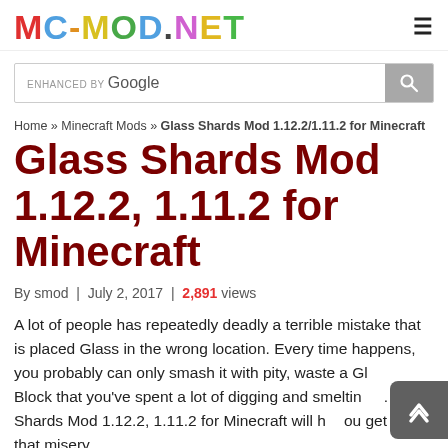[Figure (logo): MC-MOD.NET logo in colorful blocky text]
ENHANCED BY Google (search bar)
Home » Minecraft Mods » Glass Shards Mod 1.12.2/1.11.2 for Minecraft
Glass Shards Mod 1.12.2, 1.11.2 for Minecraft
By smod | July 2, 2017 | 2,891 views
A lot of people has repeatedly deadly a terrible mistake that is placed Glass in the wrong location. Every time happens, you probably can only smash it with pity, waste a Glass Block that you've spent a lot of digging and smelting. Glass Shards Mod 1.12.2, 1.11.2 for Minecraft will help you get out of that misery.